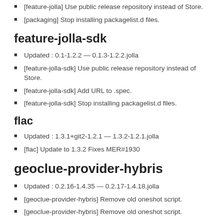[feature-jolla] Use public release repository instead of Store.
[packaging] Stop installing packagelist.d files.
feature-jolla-sdk
Updated : 0.1-1.2.2 — 0.1.3-1.2.2.jolla
[feature-jolla-sdk] Use public release repository instead of Store.
[feature-jolla-sdk] Add URL to .spec.
[feature-jolla-sdk] Stop installing packagelist.d files.
flac
Updated : 1.3.1+git2-1.2.1 — 1.3.2-1.2.1.jolla
[flac] Update to 1.3.2 Fixes MER#1930
geoclue-provider-hybris
Updated : 0.2.16-1.4.35 — 0.2.17-1.4.18.jolla
[geoclue-provider-hybris] Remove old oneshot script.
[geoclue-provider-hybris] Remove old oneshot script.
geoclue-provider-mlsdb